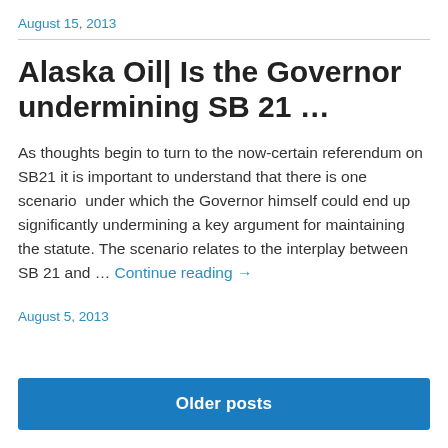August 15, 2013
Alaska Oil| Is the Governor undermining SB 21 …
As thoughts begin to turn to the now-certain referendum on SB21 it is important to understand that there is one scenario under which the Governor himself could end up significantly undermining a key argument for maintaining the statute. The scenario relates to the interplay between SB 21 and … Continue reading →
August 5, 2013
Older posts